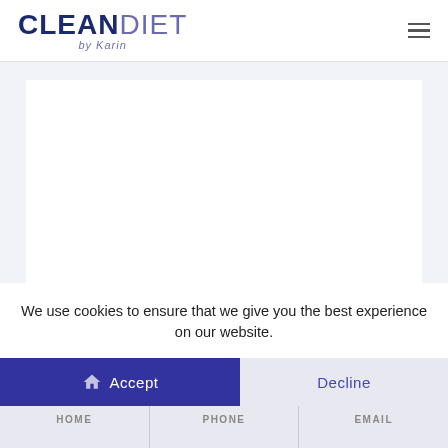CLEAN DIET by Karin
[Figure (screenshot): White content card area on light blue-grey background]
We use cookies to ensure that we give you the best experience on our website.
Accept | Decline | HOME | PHONE | EMAIL